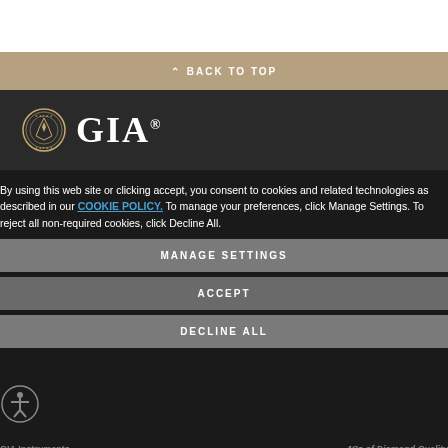BACK TO TOP
[Figure (logo): GIA logo with circular emblem and GIA wordmark in white on dark background]
By using this web site or clicking accept, you consent to cookies and related technologies as described in our COOKIE POLICY. To manage your preferences, click Manage Settings. To reject all non-required cookies, click Decline All.
Get Gem Science
Education
Research & News Home
Analysis & Grading Home
About GIA Home
GIA Instruments
4Cs of Diamond Quality